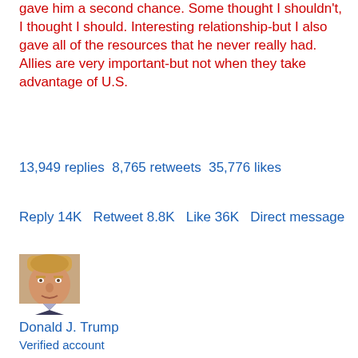gave him a second chance. Some thought I shouldn't, I thought I should. Interesting relationship-but I also gave all of the resources that he never really had. Allies are very important-but not when they take advantage of U.S.
13,949 replies 8,765 retweets 35,776 likes
Reply 14K  Retweet 8.8K  Like 36K  Direct message
[Figure (photo): Profile photo of Donald J. Trump - headshot of a man in a suit]
Donald J. Trump
Verified account